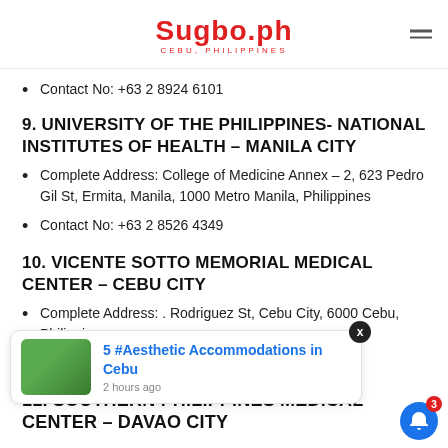Sugbo.ph — CEBU, PHILIPPINES
Contact No: +63 2 8924 6101
9. UNIVERSITY OF THE PHILIPPINES- NATIONAL INSTITUTES OF HEALTH – MANILA CITY
Complete Address: College of Medicine Annex – 2, 623 Pedro Gil St, Ermita, Manila, 1000 Metro Manila, Philippines
Contact No: +63 2 8526 4349
10. VICENTE SOTTO MEMORIAL MEDICAL CENTER – CEBU CITY
Complete Address: . Rodriguez St, Cebu City, 6000 Cebu, Philippines
11. SOUTHERN PHILIPPINES MEDICAL CENTER – DAVAO CITY